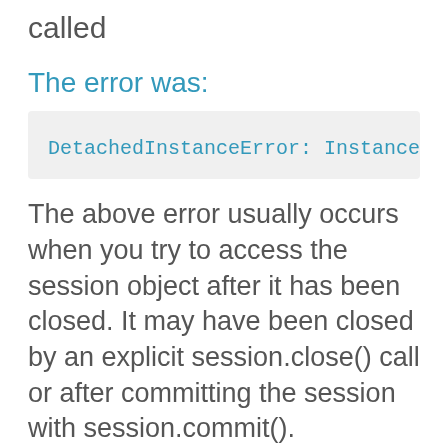called
The error was:
DetachedInstanceError: Instance <User a
The above error usually occurs when you try to access the session object after it has been closed. It may have been closed by an explicit session.close() call or after committing the session with session.commit().
The celery tasks in question were performing some database operations. So the first thought was that maybe these